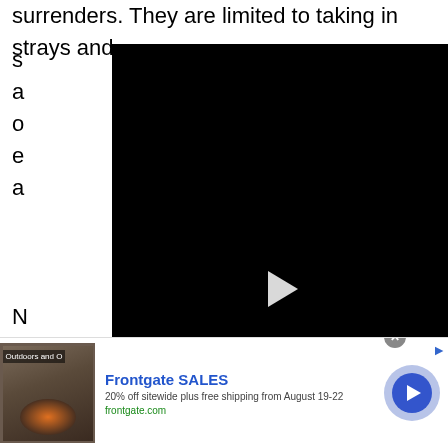surrenders. They are limited to taking in strays and s... a... o... e... a... N... n... Japanese Fighting Fish and found them homes. Not the most unusual case though. Currently they have two roosters who need homes. Occasionally they have rabbits.
[Figure (screenshot): Black video player overlay with white play button triangle in the center, covering most of the upper portion of the page]
[Figure (screenshot): Advertisement bar for Frontgate SALES with outdoor furniture photo, text '20% off sitewide plus free shipping from August 19-22', URL frontgate.com, and blue circular CTA arrow button]